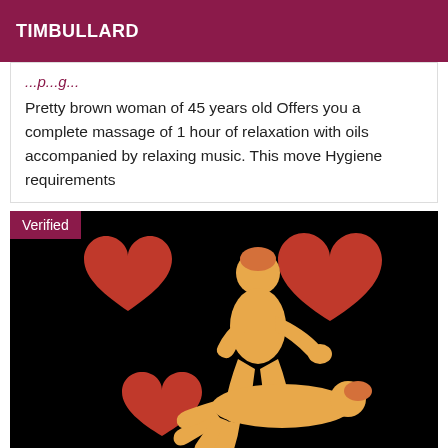TIMBULLARD
Pretty brown woman of 45 years old Offers you a complete massage of 1 hour of relaxation with oils accompanied by relaxing music. This move Hygiene requirements
[Figure (illustration): Illustrated massage scene with two cartoon figures on black background with red hearts, labeled Verified]